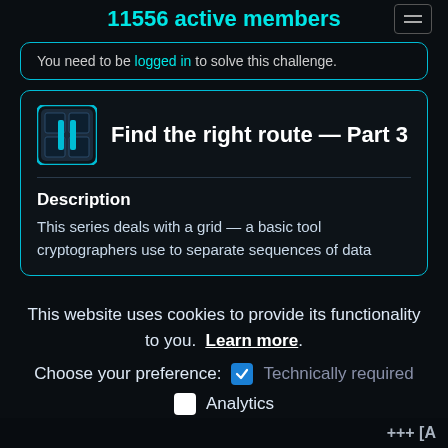11556 active members
You need to be logged in to solve this challenge.
Find the right route — Part 3
Description
This series deals with a grid — a basic tool cryptographers use to separate sequences of data
This website uses cookies to provide its functionality to you.  Learn more.
Choose your preference:  Technically required
Analytics
Confirm
+++ [A